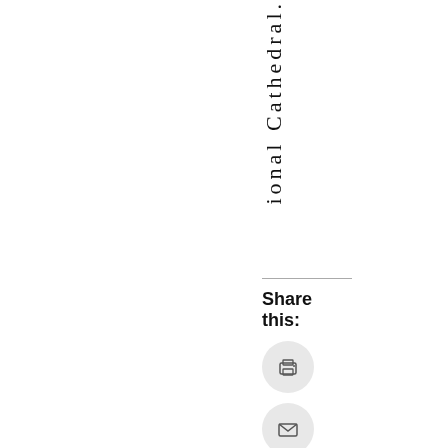ional Cathedral.
Share this:
[Figure (infographic): Share buttons: print, email, Facebook, Pinterest]
[Figure (infographic): Share button icons: printer icon, email icon, Facebook icon, Pinterest icon]